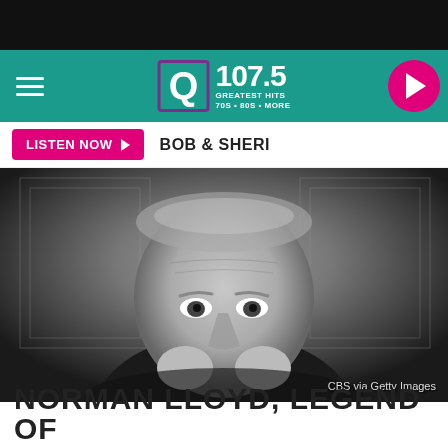[Figure (logo): Q107.5 Greatest Hits radio station logo with teal/green background header navigation bar and pink play button]
[Figure (other): Listen Now button in pink with play arrow, followed by BOB & SHERI show name text]
[Figure (photo): Black and white photograph of Norman Lloyd, an elderly man resting his chin on his hands, looking at the camera. Photo credit: CBS via Getty Images]
NORMAN LLOYD, LEGEND OF